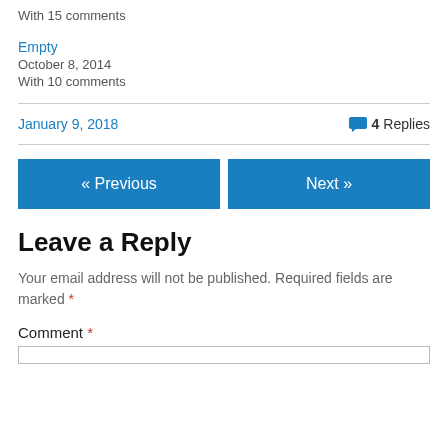With 15 comments
Empty
October 8, 2014
With 10 comments
January 9, 2018
4 Replies
« Previous
Next »
Leave a Reply
Your email address will not be published. Required fields are marked *
Comment *